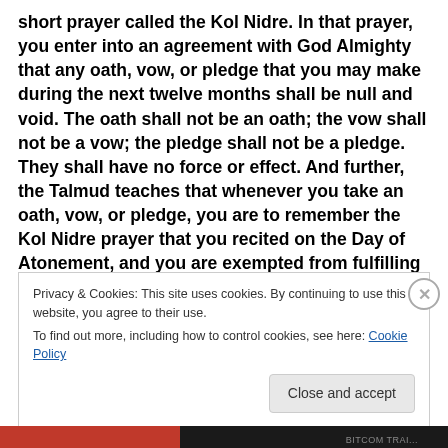short prayer called the Kol Nidre. In that prayer, you enter into an agreement with God Almighty that any oath, vow, or pledge that you may make during the next twelve months shall be null and void. The oath shall not be an oath; the vow shall not be a vow; the pledge shall not be a pledge. They shall have no force or effect. And further, the Talmud teaches that whenever you take an oath, vow, or pledge, you are to remember the Kol Nidre prayer that you recited on the Day of Atonement, and you are exempted from fulfilling them. How much can you depend on their
Privacy & Cookies: This site uses cookies. By continuing to use this website, you agree to their use.
To find out more, including how to control cookies, see here: Cookie Policy
Close and accept